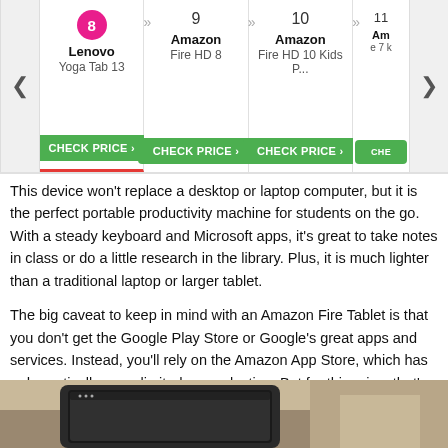[Figure (screenshot): Product navigation carousel showing tablets numbered 8-11: #8 Lenovo Yoga Tab 13 (active, pink circle), #9 Amazon Fire HD 8, #10 Amazon Fire HD 10 Kids P..., #11 Am... (partially visible). Each item has a CHECK PRICE green button. Left and right navigation arrows visible.]
This device won't replace a desktop or laptop computer, but it is the perfect portable productivity machine for students on the go. With a steady keyboard and Microsoft apps, it's great to take notes in class or do a little research in the library. Plus, it is much lighter than a traditional laptop or larger tablet.
The big caveat to keep in mind with an Amazon Fire Tablet is that you don't get the Google Play Store or Google's great apps and services. Instead, you'll rely on the Amazon App Store, which has a dramatically more limited app selection. But for this price, that's an OK trade-off for most people.
[Figure (photo): Partial photo at bottom of page showing what appears to be a tablet device against a warm brown/tan background]